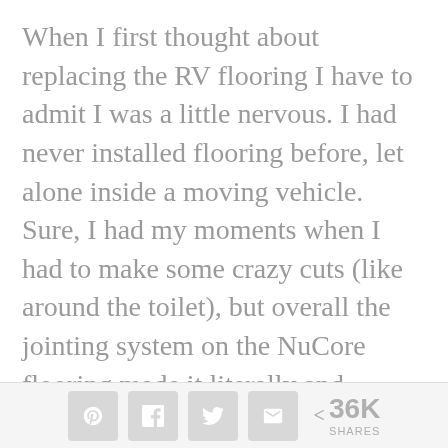When I first thought about replacing the RV flooring I have to admit I was a little nervous. I had never installed flooring before, let alone inside a moving vehicle. Sure, I had my moments when I had to make some crazy cuts (like around the toilet), but overall the jointing system on the NuCore flooring made it literally and figuratively a snap. After you make a few cuts you get the
Share buttons with icons for Pinterest, Facebook, Twitter, Email, and a share count of 36K SHARES